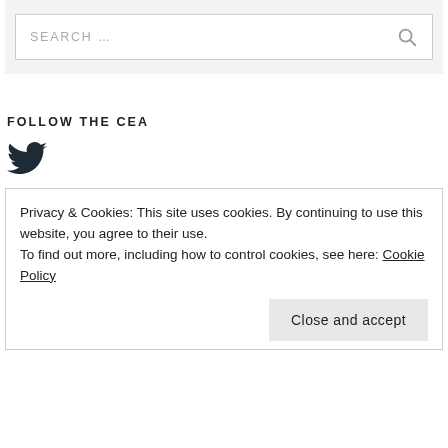[Figure (other): Search bar with placeholder text SEARCH ... and a magnifying glass icon, inside a light gray background section]
FOLLOW THE CEA
[Figure (logo): Twitter bird logo icon in dark color]
Privacy & Cookies: This site uses cookies. By continuing to use this website, you agree to their use.
To find out more, including how to control cookies, see here: Cookie Policy
Close and accept